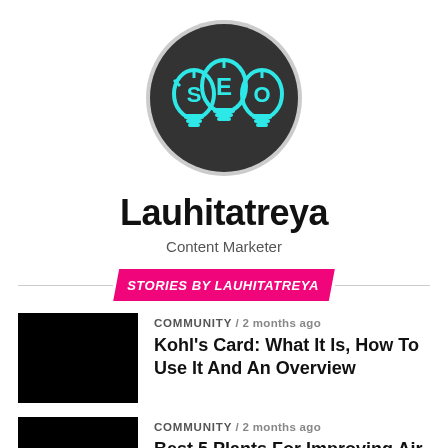[Figure (logo): Circular logo with dark background showing three lightbulbs with letters S, E, O in cyan/teal color, representing SEO branding]
Lauhitatreya
Content Marketer
STORIES BY LAUHITATREYA
[Figure (photo): Black thumbnail image for article]
COMMUNITY / 2 months ago
Kohl's Card: What It Is, How To Use It And An Overview
[Figure (photo): Black thumbnail image for article]
COMMUNITY / 2 months ago
Best 5 Plants For Improving Air Quality